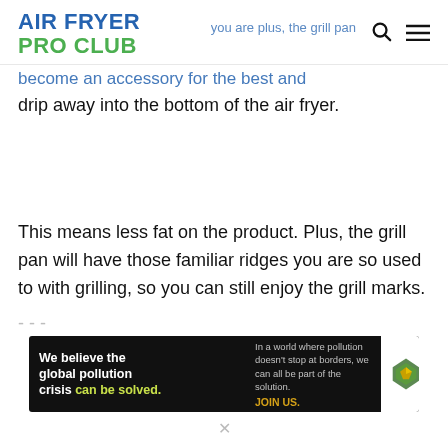AIR FRYER PRO CLUB
drip away into the bottom of the air fryer.
This means less fat on the product. Plus, the grill pan will have those familiar ridges you are so used to with grilling, so you can still enjoy the grill marks.
[Figure (other): Pure Earth advertisement banner: 'We believe the global pollution crisis can be solved. In a world where pollution doesn't stop at borders, we can all be part of the solution. JOIN US.' with Pure Earth logo.]